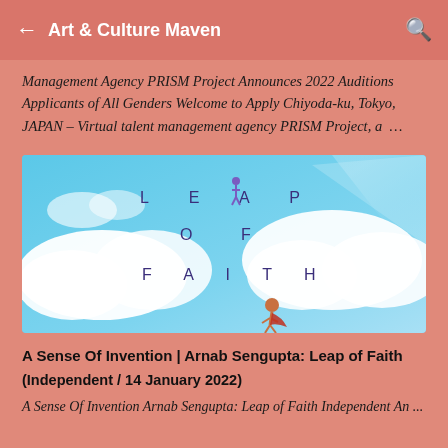Art & Culture Maven
Management Agency PRISM Project Announces 2022 Auditions Applicants of All Genders Welcome to Apply Chiyoda-ku, Tokyo, JAPAN – Virtual talent management agency PRISM Project, a …
[Figure (illustration): Artistic image with blue sky and clouds, with text 'LEAP OF FAITH' spelled out with spaced letters and a figure running at the bottom. The word LEAP is on top, OF in the middle, FAITH at the bottom.]
A Sense Of Invention | Arnab Sengupta: Leap of Faith
(Independent / 14 January 2022)
A Sense Of Invention Arnab Sengupta: Leap of Faith Independent An ...